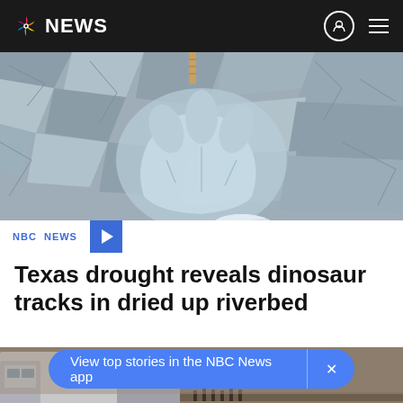NBC NEWS
[Figure (photo): Aerial close-up of a large dinosaur footprint imprinted in cracked, dried riverbed mud. A person's sneaker-clad foot is visible near the track for scale. A wooden stake or ruler is placed near the top edge of the footprint.]
NBC NEWS
Texas drought reveals dinosaur tracks in dried up riverbed
[Figure (photo): Aerial or elevated shot of an outdoor scene with emergency/news vehicles including a large semi truck or trailer on the left side. A group of people stands in the middle distance on what appears to be flat open terrain.]
View top stories in the NBC News app